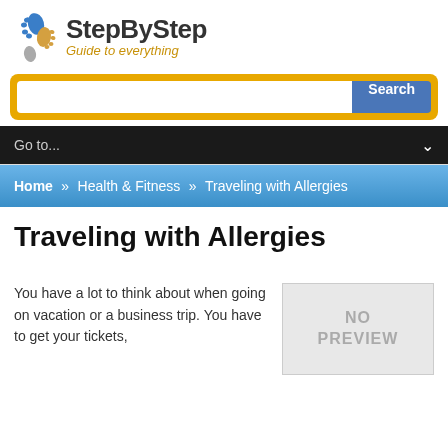[Figure (logo): StepByStep logo with two footprints (blue and orange) and grey footprint, with text 'StepByStep' in bold dark and 'Guide to everything' in orange italic]
[Figure (screenshot): Search bar with orange border/background and blue Search button]
Go to...
Home » Health & Fitness » Traveling with Allergies
Traveling with Allergies
You have a lot to think about when going on vacation or a business trip. You have to get your tickets,
[Figure (photo): No preview placeholder box with grey background showing 'NO PREVIEW' text]